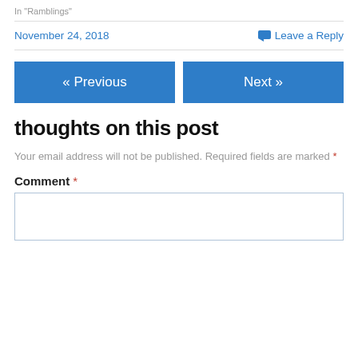In "Ramblings"
November 24, 2018  Leave a Reply
« Previous
Next »
thoughts on this post
Your email address will not be published. Required fields are marked *
Comment *